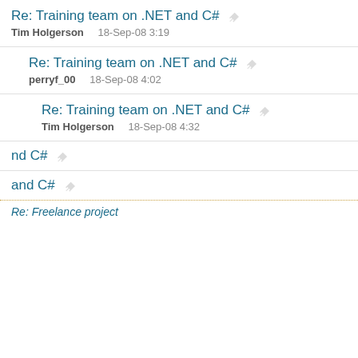Re: Training team on .NET and C#
Tim Holgerson   18-Sep-08 3:19
Re: Training team on .NET and C#
perryf_00   18-Sep-08 4:02
Re: Training team on .NET and C#
Tim Holgerson   18-Sep-08 4:32
...nd C#
...and C#
Like every other website we use cookies. By using our site you acknowledge that you have read and understand our Cookie Policy, Privacy Policy, and our Terms of Service.
Learn more
Ask me later
Decline
Allow cookies
Re: Freelance project